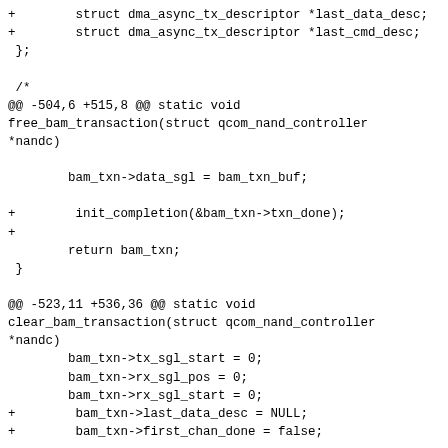+        struct dma_async_tx_descriptor *last_data_desc;
+        struct dma_async_tx_descriptor *last_cmd_desc;
 };

 /*
@@ -504,6 +515,8 @@ static void free_bam_transaction(struct qcom_nand_controller *nandc)

         bam_txn->data_sgl = bam_txn_buf;

+        init_completion(&bam_txn->txn_done);
+
         return bam_txn;
 }

@@ -523,11 +536,36 @@ static void clear_bam_transaction(struct qcom_nand_controller *nandc)
         bam_txn->tx_sgl_start = 0;
         bam_txn->rx_sgl_pos = 0;
         bam_txn->rx_sgl_start = 0;
+        bam_txn->last_data_desc = NULL;
+        bam_txn->first_chan_done = false;

         sg_init_table(bam_txn->cmd_sgl, nandc->max_cwperpage *
                         QPIC_PER_CW_CMD_SGL);
         sg_init_table(bam_txn->data_sgl, nandc->max_cwperpage *
>max_cwperpage *